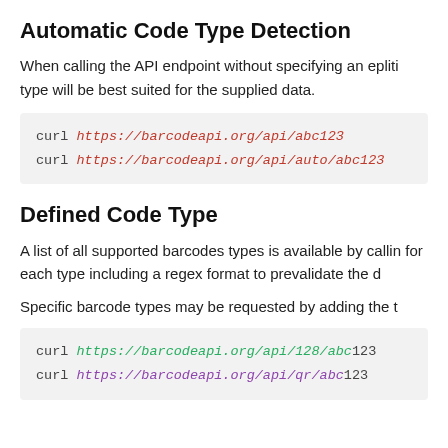Automatic Code Type Detection
When calling the API endpoint without specifying an epliti type will be best suited for the supplied data.
curl https://barcodeapi.org/api/abc123
curl https://barcodeapi.org/api/auto/abc123
Defined Code Type
A list of all supported barcodes types is available by callin for each type including a regex format to prevalidate the d
Specific barcode types may be requested by adding the t
curl https://barcodeapi.org/api/128/abc123
curl https://barcodeapi.org/api/qr/abc123